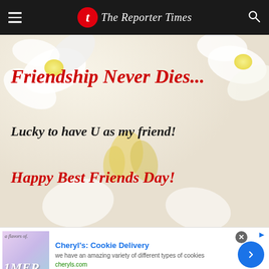The Reporter Times
[Figure (illustration): Greeting card image with flowers in background. Red cursive text: 'Friendship Never Dies...' Black cursive text: 'Lucky to have U as my friend!' Red cursive text: 'Happy Best Friends Day!']
[Figure (screenshot): Advertisement banner for Cheryl's Cookie Delivery. Title: 'Cheryl's: Cookie Delivery'. Description: 'we have an amazing variety of different types of cookies'. URL: cheryls.com. Blue arrow button on right.]